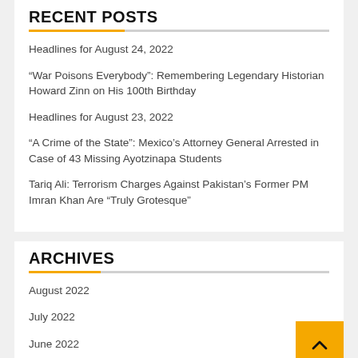RECENT POSTS
Headlines for August 24, 2022
“War Poisons Everybody”: Remembering Legendary Historian Howard Zinn on His 100th Birthday
Headlines for August 23, 2022
“A Crime of the State”: Mexico’s Attorney General Arrested in Case of 43 Missing Ayotzinapa Students
Tariq Ali: Terrorism Charges Against Pakistan’s Former PM Imran Khan Are “Truly Grotesque”
ARCHIVES
August 2022
July 2022
June 2022